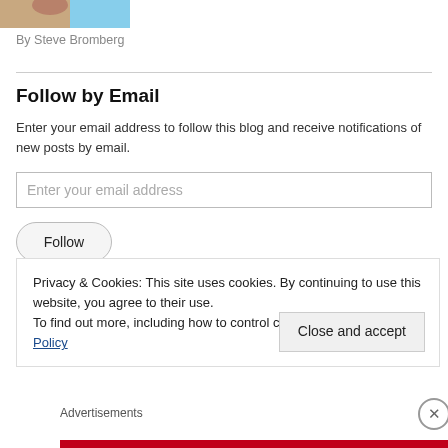[Figure (photo): Partial photo of a person, top-left corner crop]
By Steve Bromberg
Follow by Email
Enter your email address to follow this blog and receive notifications of new posts by email.
Enter your email address
Follow
Privacy & Cookies: This site uses cookies. By continuing to use this website, you agree to their use.
To find out more, including how to control cookies, see here: Cookie Policy
Close and accept
Advertisements